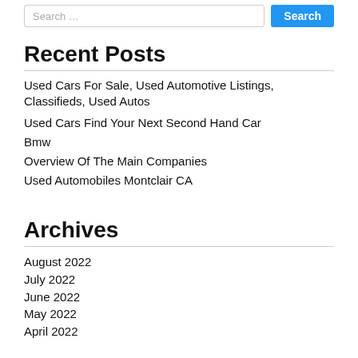Search …
Recent Posts
Used Cars For Sale, Used Automotive Listings, Classifieds, Used Autos
Used Cars Find Your Next Second Hand Car
Bmw
Overview Of The Main Companies
Used Automobiles Montclair CA
Archives
August 2022
July 2022
June 2022
May 2022
April 2022